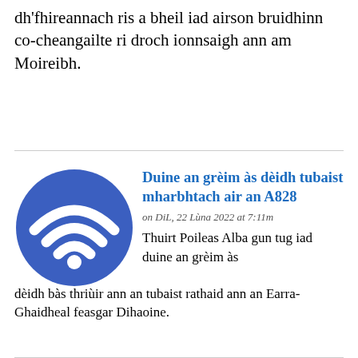dealbhan de dh'fhireannach ris a bheil iad airson bruidhinn co-cheangailte ri droch ionnsaigh ann am Moireibh.
[Figure (logo): Blue circular WiFi/broadcast icon used as article thumbnail]
Duine an grèim às dèidh tubaist mharbhtach air an A828
on DiL, 22 Lùna 2022 at 7:11m
Thuirt Poileas Alba gun tug iad duine an grèim às dèidh bàs thriùir ann an tubaist rathaid ann an Earra-Ghaidheal feasgar Dihaoine.